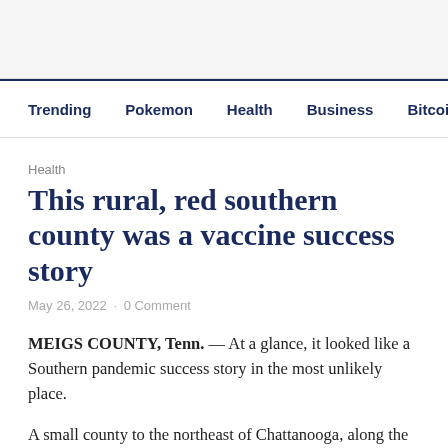Trending  Pokemon  Health  Business  Bitcoin  Aamir K
Health
This rural, red southern county was a vaccine success story
May 26, 2022 · 0 Comment
MEIGS COUNTY, Tenn. — At a glance, it looked like a Southern pandemic success story in the most unlikely place.
A small county to the northeast of Chattanooga, along the twisted shores of Lake Chickamauga, has reported one of the highest COVID-19 vaccination